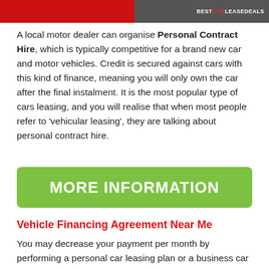[Figure (photo): Top banner image split: red section on left, dark/grey section on right with a person visible and BESTCARLEASEDEALS logo text in top right corner]
A local motor dealer can organise Personal Contract Hire, which is typically competitive for a brand new car and motor vehicles. Credit is secured against cars with this kind of finance, meaning you will only own the car after the final instalment. It is the most popular type of cars leasing, and you will realise that when most people refer to 'vehicular leasing', they are talking about personal contract hire.
[Figure (infographic): Green rounded rectangle button with white bold text reading MORE INFORMATION]
Vehicle Financing Agreement Near Me
You may decrease your payment per month by performing a personal car leasing plan or a business car leasing on Hire Purchase. Then, instead of paying for the car outright, you accept to pay the difference between the selling price and cost for reselling back to the dealership.
The price based on the annual mileage travelled across the